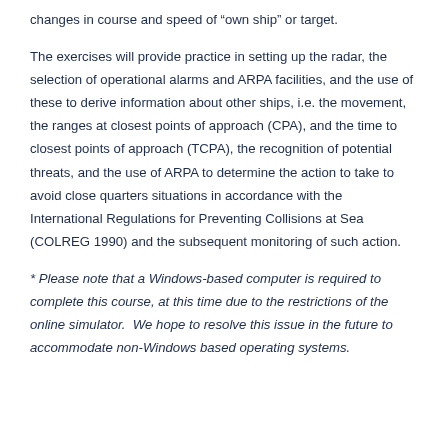changes in course and speed of “own ship” or target.
The exercises will provide practice in setting up the radar, the selection of operational alarms and ARPA facilities, and the use of these to derive information about other ships, i.e. the movement, the ranges at closest points of approach (CPA), and the time to closest points of approach (TCPA), the recognition of potential threats, and the use of ARPA to determine the action to take to avoid close quarters situations in accordance with the International Regulations for Preventing Collisions at Sea (COLREG 1990) and the subsequent monitoring of such action.
* Please note that a Windows-based computer is required to complete this course, at this time due to the restrictions of the online simulator.  We hope to resolve this issue in the future to accommodate non-Windows based operating systems.